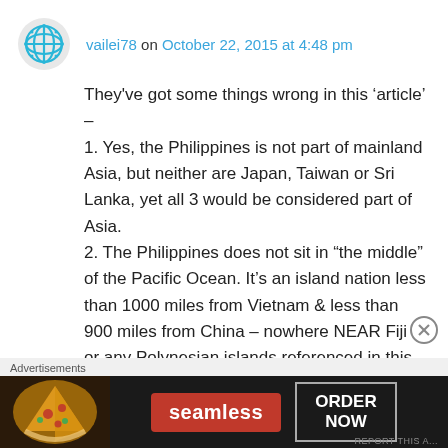vailei78 on October 22, 2015 at 4:48 pm
They've got some things wrong in this 'article' – 1. Yes, the Philippines is not part of mainland Asia, but neither are Japan, Taiwan or Sri Lanka, yet all 3 would be considered part of Asia. 2. The Philippines does not sit in “the middle” of the Pacific Ocean. It's an island nation less than 1000 miles from Vietnam & less than 900 miles from China – nowhere NEAR Fiji or any Polynesian islands referenced in this article. The Polynesian triangle is formed between New Zealand, Hawaii & Rapa Nui, with all islands
Advertisements
[Figure (other): Seamless food delivery advertisement banner showing pizza image on left, Seamless logo in red badge in center, and ORDER NOW text in bordered box on right, on dark background]